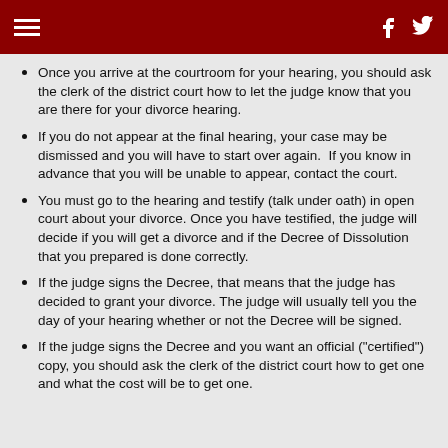≡  f  🐦
Once you arrive at the courtroom for your hearing, you should ask the clerk of the district court how to let the judge know that you are there for your divorce hearing.
If you do not appear at the final hearing, your case may be dismissed and you will have to start over again.  If you know in advance that you will be unable to appear, contact the court.
You must go to the hearing and testify (talk under oath) in open court about your divorce. Once you have testified, the judge will decide if you will get a divorce and if the Decree of Dissolution that you prepared is done correctly.
If the judge signs the Decree, that means that the judge has decided to grant your divorce. The judge will usually tell you the day of your hearing whether or not the Decree will be signed.
If the judge signs the Decree and you want an official ("certified") copy, you should ask the clerk of the district court how to get one and what the cost will be to get one.